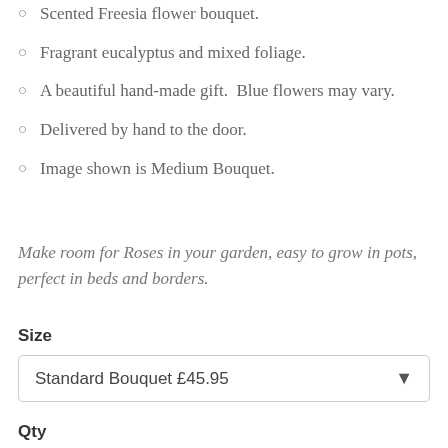Scented Freesia flower bouquet.
Fragrant eucalyptus and mixed foliage.
A beautiful hand-made gift.  Blue flowers may vary.
Delivered by hand to the door.
Image shown is Medium Bouquet.
Make room for Roses in your garden, easy to grow in pots, perfect in beds and borders.
Size
Standard Bouquet £45.95
Qty